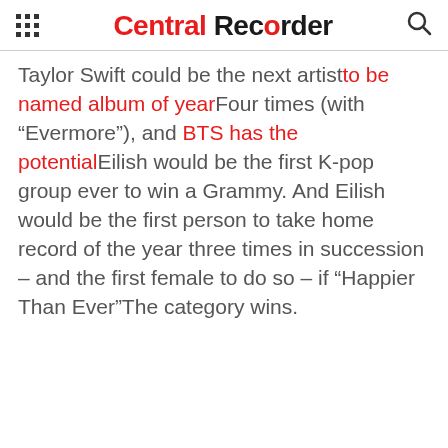Central Recorder
Taylor Swift could be the next artist to be named album of year Four times (with “Evermore”), and BTS has the potential Eilish would be the first K-pop group ever to win a Grammy. And Eilish would be the first person to take home record of the year three times in succession – and the first female to do so – if “Happier Than Ever”The category wins.